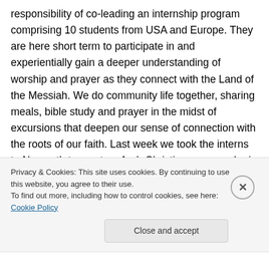responsibility of co-leading an internship program comprising 10 students from USA and Europe. They are here short term to participate in and experientially gain a deeper understanding of worship and prayer as they connect with the Land of the Messiah. We do community life together, sharing meals, bible study and prayer in the midst of excursions that deepen our sense of connection with the roots of our faith. Last week we took the interns to Nazareth to meet an Arab Christian woman who is strong leader in her community and teaches on the power of
Privacy & Cookies: This site uses cookies. By continuing to use this website, you agree to their use.
To find out more, including how to control cookies, see here: Cookie Policy